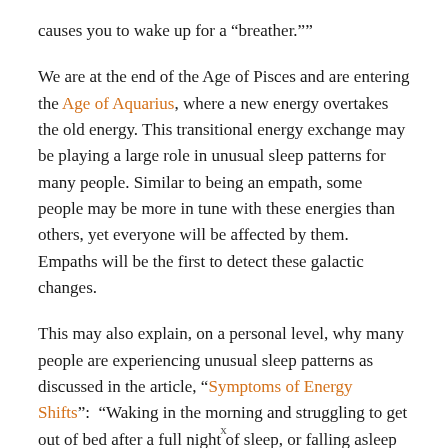causes you to wake up for a “breather.””
We are at the end of the Age of Pisces and are entering the Age of Aquarius, where a new energy overtakes the old energy. This transitional energy exchange may be playing a large role in unusual sleep patterns for many people. Similar to being an empath, some people may be more in tune with these energies than others, yet everyone will be affected by them.  Empaths will be the first to detect these galactic changes.
This may also explain, on a personal level, why many people are experiencing unusual sleep patterns as discussed in the article, “Symptoms of Energy Shifts”:  “Waking in the morning and struggling to get out of bed after a full night of sleep, or falling asleep in the middle of the afternoon is common. This is caused when the energy is shifting throughout the whole spiritual body. This will pass in time,
x